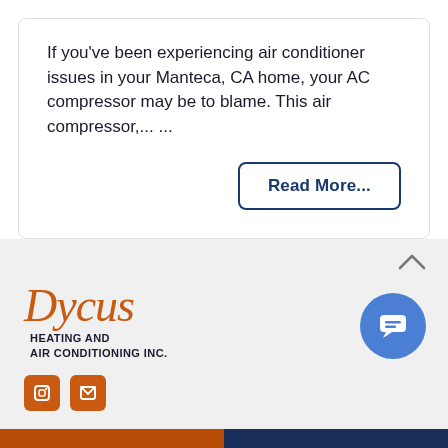If you've been experiencing air conditioner issues in your Manteca, CA home, your AC compressor may be to blame. This air compressor,... ...
Read More...
[Figure (logo): Dycus Heating and Air Conditioning Inc. logo with orange cursive script and dark text subtitle]
[Figure (other): Blue circular chat/message button icon]
(209) 554-6455
Schedule Visit